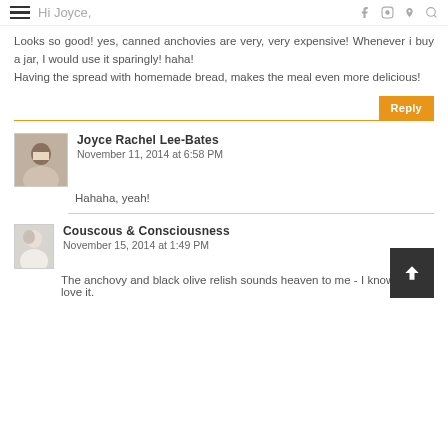Hi Joyce,
Looks so good! yes, canned anchovies are very, very expensive! Whenever i buy a jar, I would use it sparingly! haha!
Having the spread with homemade bread, makes the meal even more delicious!
Joyce Rachel Lee-Bates
November 11, 2014 at 6:58 PM
Hahaha, yeah!
Couscous & Consciousness
November 15, 2014 at 1:49 PM
The anchovy and black olive relish sounds heaven to me - I know I would love it.